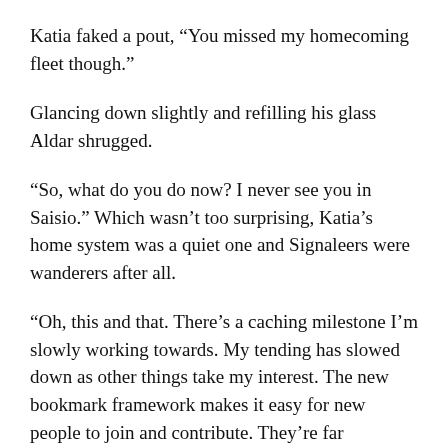Katia faked a pout, “You missed my homecoming fleet though.”
Glancing down slightly and refilling his glass Aldar shrugged.
“So, what do you do now? I never see you in Saisio.” Which wasn’t too surprising, Katia’s home system was a quiet one and Signaleers were wanderers after all.
“Oh, this and that. There’s a caching milestone I’m slowly working towards. My tending has slowed down as other things take my interest. The new bookmark framework makes it easy for new people to join and contribute. They’re far exceeding any slack I might have introduced. I’ve really spent my time on research; chemical labs, trying to characterize these transient pirate gatherings that seem to come around year after year, unlocking